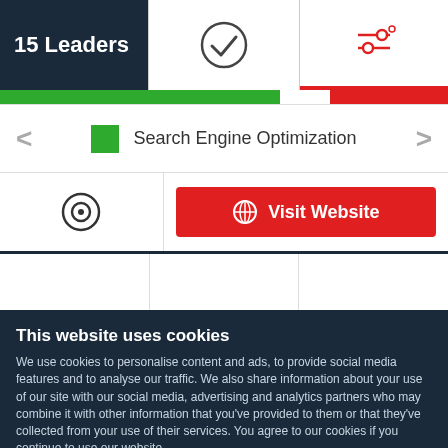15 Leaders
[Figure (screenshot): Navigation bar with checkmark icon (active tab) and settings/filter icon with red underline]
[Figure (infographic): Progress bar with green segment on left and red segment on right]
Search Engine Optimization
[Figure (screenshot): Copyright/info icon circle on left, red Visit Website button with globe icon on right]
[Figure (screenshot): Three column grid cells (empty content area)]
This website uses cookies
We use cookies to personalise content and ads, to provide social media features and to analyse our traffic. We also share information about your use of our site with our social media, advertising and analytics partners who may combine it with other information that you've provided to them or that they've collected from your use of their services. You agree to our cookies if you continue to use our website.
Close
Show details